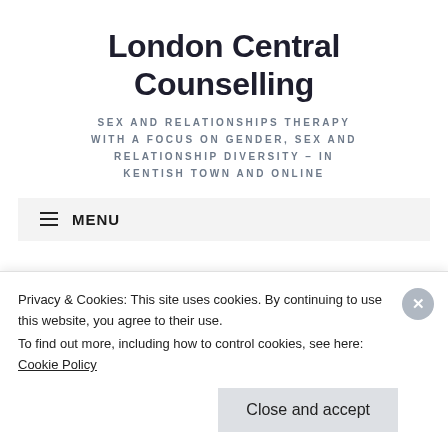London Central Counselling
SEX AND RELATIONSHIPS THERAPY WITH A FOCUS ON GENDER, SEX AND RELATIONSHIP DIVERSITY – IN KENTISH TOWN AND ONLINE
MENU
Loss
Privacy & Cookies: This site uses cookies. By continuing to use this website, you agree to their use.
To find out more, including how to control cookies, see here: Cookie Policy
Close and accept
Follow